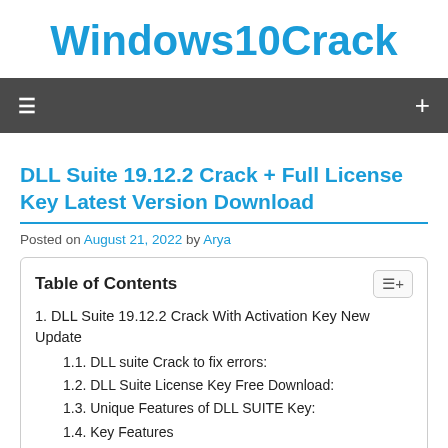Windows10Crack
DLL Suite 19.12.2 Crack + Full License Key Latest Version Download
Posted on August 21, 2022 by Arya
| Table of Contents |
| --- |
| 1. DLL Suite 19.12.2 Crack With Activation Key New Update |
| 1.1. DLL suite Crack to fix errors: |
| 1.2. DLL Suite License Key Free Download: |
| 1.3. Unique Features of DLL SUITE Key: |
| 1.4. Key Features |